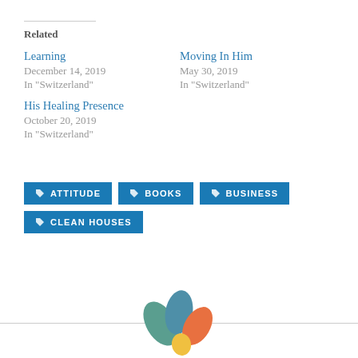Related
Learning
December 14, 2019
In "Switzerland"
Moving In Him
May 30, 2019
In "Switzerland"
His Healing Presence
October 20, 2019
In "Switzerland"
ATTITUDE
BOOKS
BUSINESS
CLEAN HOUSES
[Figure (logo): Colorful swirl logo with teal, blue, orange and yellow petal/wing shapes]